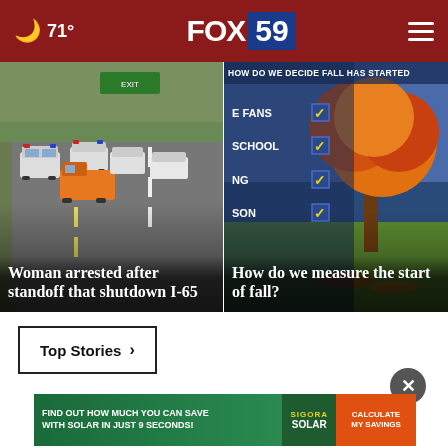71° FOX 59
[Figure (photo): Highway scene with police vehicles and emergency trucks on I-65 during a standoff]
Woman arrested after standoff that shutdown I-65
[Figure (infographic): Fall season checklist infographic titled 'HOW DO WE DECIDE FALL HAS STARTED' with checkboxes for FANS, SCHOOL, NG, SON; autumn tree in background]
How do we measure the start of fall?
Top Stories ›
[Figure (screenshot): Advertisement: FIND OUT HOW MUCH YOU CAN SAVE WITH SOLAR IN JUST 9 SECONDS! SIGORA SOLAR CALCULATE MY SAVINGS]